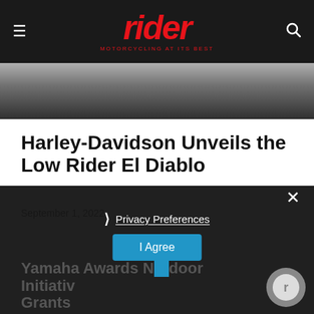rider — MOTORCYCLING AT ITS BEST
[Figure (photo): Partial view of a Harley-Davidson motorcycle, dark tones, hero image strip]
Harley-Davidson Unveils the Low Rider El Diablo
September 1, 2022
Privacy Preferences
I Agree
Yamaha Awards N... door Initiativ Grants